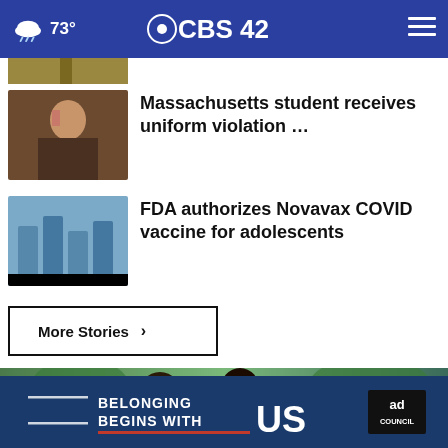CBS42 — 73° weather header with hamburger menu
[Figure (screenshot): Partial thumbnail of a news article at top of list (cropped)]
Massachusetts student receives uniform violation …
[Figure (photo): Small thumbnail photo for Massachusetts student uniform violation story]
FDA authorizes Novavax COVID vaccine for adolescents
[Figure (photo): Small thumbnail photo for FDA Novavax COVID vaccine story]
More Stories ›
[Figure (photo): Ad Council photo — people talking outdoors]
[Figure (infographic): Ad Council banner — BELONGING BEGINS WITH US]